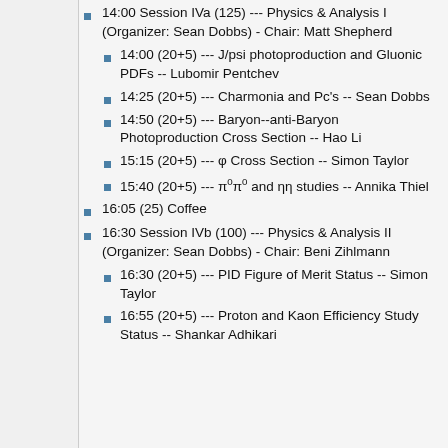14:00 Session IVa (125) --- Physics & Analysis I (Organizer: Sean Dobbs) - Chair: Matt Shepherd
14:00 (20+5) --- J/psi photoproduction and Gluonic PDFs -- Lubomir Pentchev
14:25 (20+5) --- Charmonia and Pc's -- Sean Dobbs
14:50 (20+5) --- Baryon--anti-Baryon Photoproduction Cross Section -- Hao Li
15:15 (20+5) --- φ Cross Section -- Simon Taylor
15:40 (20+5) --- π⁰π⁰ and ηη studies -- Annika Thiel
16:05 (25) Coffee
16:30 Session IVb (100) --- Physics & Analysis II (Organizer: Sean Dobbs) - Chair: Beni Zihlmann
16:30 (20+5) --- PID Figure of Merit Status -- Simon Taylor
16:55 (20+5) --- Proton and Kaon Efficiency Study Status -- Shankar Adhikari